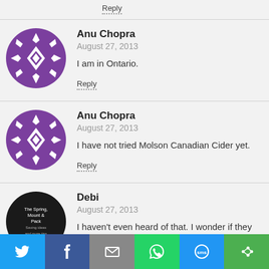Reply
Anu Chopra
August 27, 2013
I am in Ontario.
Reply
Anu Chopra
August 27, 2013
I have not tried Molson Canadian Cider yet.
Reply
Debi
August 27, 2013
I haven't even heard of that. I wonder if they have it around here.
My recent post Staying in Touch While the Kids Play with